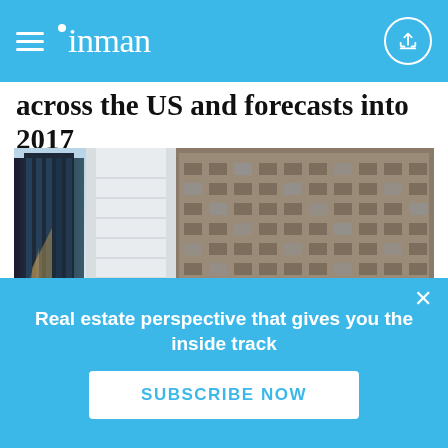inman
across the US and forecasts into 2017
[Figure (photo): Upward view of tall city skyscrapers with glass facades and sunlight between buildings]
Shunyu Fan / iStock.com
BY INMAN
Real estate perspective that gives you the inside track
SUBSCRIBE NOW